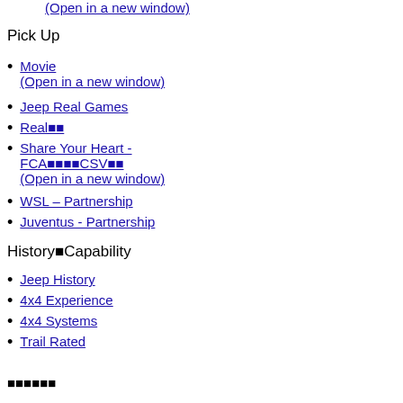(Open in a new window)
Pick Up
Movie (Open in a new window)
Jeep Real Games
Real■■
Share Your Heart - FCA■■■■CSV■■ (Open in a new window)
WSL – Partnership
Juventus - Partnership
History■Capability
Jeep History
4x4 Experience
4x4 Systems
Trail Rated
■■■■■■
■■■■■■■
■■■■■■■■
Menu
■■■■■■■■■